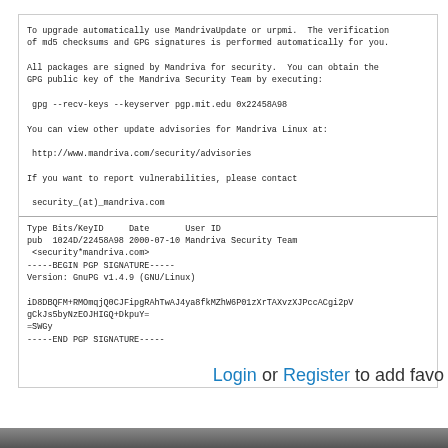To upgrade automatically use MandrivaUpdate or urpmi.  The verification of md5 checksums and GPG signatures is performed automatically for you.

All packages are signed by Mandriva for security.  You can obtain the GPG public key of the Mandriva Security Team by executing:

 gpg --recv-keys --keyserver pgp.mit.edu 0x22458A98

You can view other update advisories for Mandriva Linux at:

 http://www.mandriva.com/security/advisories

If you want to report vulnerabilities, please contact

 security_(at)_mandriva.com
Type Bits/KeyID     Date       User ID
pub  1024D/22458A98 2000-07-10 Mandriva Security Team
 <security*mandriva.com>
-----BEGIN PGP SIGNATURE-----
Version: GnuPG v1.4.9 (GNU/Linux)

iD8DBQFM+RMOmqjQ0CJFipgRAhTwAJ4ya8fkMZhW6P01zXrTAXvzXJPccACgi2pV
gCkJs5byNzEOJHIGQ+DkpuY=
=SWGy
-----END PGP SIGNATURE-----
Login or Register to add favo